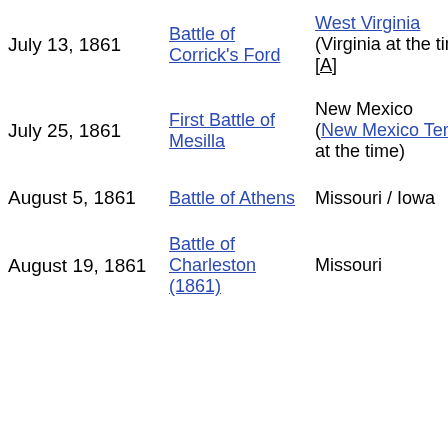| Date | Battle | Location | Result |  |
| --- | --- | --- | --- | --- |
| July 13, 1861 | Battle of Corrick's Ford | West Virginia (Virginia at the time) [A] | Union |  |
| July 25, 1861 | First Battle of Mesilla | New Mexico (New Mexico Territory at the time) | Confederate |  |
| August 5, 1861 | Battle of Athens | Missouri / Iowa | Union |  |
| August 19, 1861 | Battle of Charleston (1861) | Missouri | Union |  |